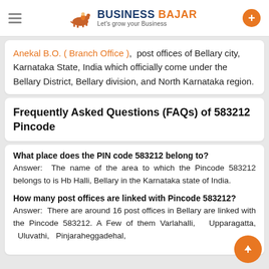Business Bajar — Let's grow your Business
Anekal B.O. ( Branch Office ), post offices of Bellary city, Karnataka State, India which officially come under the Bellary District, Bellary division, and North Karnataka region.
Frequently Asked Questions (FAQs) of 583212 Pincode
What place does the PIN code 583212 belong to?
Answer: The name of the area to which the Pincode 583212 belongs to is Hb Halli, Bellary in the Karnataka state of India.
How many post offices are linked with Pincode 583212?
Answer: There are around 16 post offices in Bellary are linked with the Pincode 583212. A Few of them Varlahalli, Upparagatta, Uluvathi, Pinjaraheggadehal,